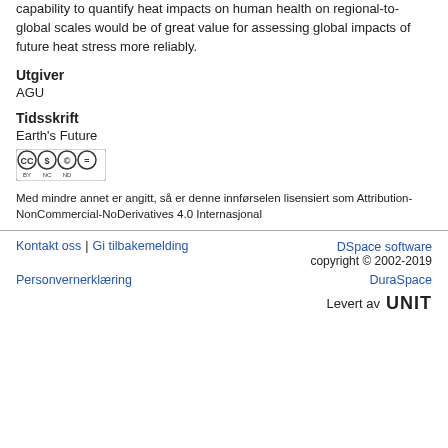capability to quantify heat impacts on human health on regional-to-global scales would be of great value for assessing global impacts of future heat stress more reliably.
Utgiver
AGU
Tidsskrift
Earth's Future
[Figure (logo): Creative Commons Attribution-NonCommercial-NoDerivatives (CC BY-NC-ND) license badge]
Med mindre annet er angitt, så er denne innførselen lisensiert som Attribution-NonCommercial-NoDerivatives 4.0 Internasjonal
Kontakt oss | Gi tilbakemelding | DSpace software copyright © 2002-2019 | DuraSpace | Levert av UNIT